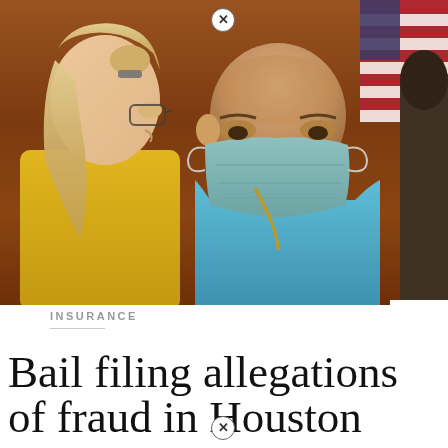[Figure (photo): Courtroom scene showing a blonde woman in a yellow top and a bald man in a blue polo shirt wearing a light blue face mask, appearing to converse. An American flag is partially visible in the upper right background. A close (X) button appears at the top center of the image.]
INSURANCE
Bail filing allegations of fraud in Houston man's